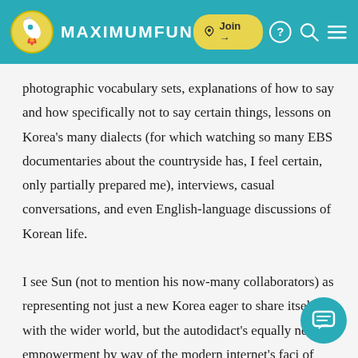MAXIMUMFUN — Join →
photographic vocabulary sets, explanations of how to say and how specifically not to say certain things, lessons on Korea's many dialects (for which watching so many EBS documentaries about the countryside has, I feel certain, only partially prepared me), interviews, casual conversations, and even English-language discussions of Korean life.

I see Sun (not to mention his now-many collaborators) as representing not just a new Korea eager to share itself with the wider world, but the autodidact's equally new empowerment by way of the modern internet's faci... of teaching and learning. (It may not surprise you to hear that I've found no better medium for this than the